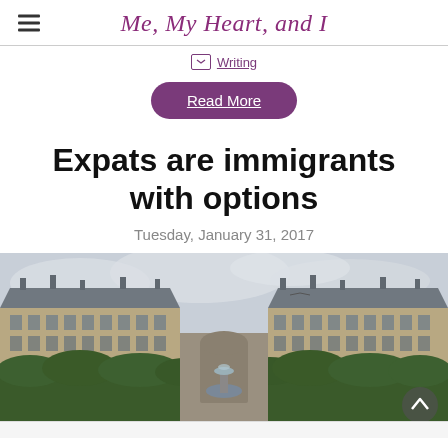Me, My Heart, and I
Writing
Read More
Expats are immigrants with options
Tuesday, January 31, 2017
[Figure (photo): Wide panoramic photo of Place des Vosges in Paris, France, showing ornate French Renaissance brick and stone buildings with slate mansard roofs, green manicured hedges in the foreground, a fountain in the center, and a cloudy sky.]